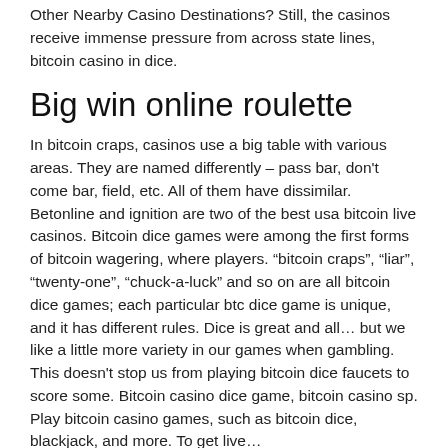Other Nearby Casino Destinations? Still, the casinos receive immense pressure from across state lines, bitcoin casino in dice.
Big win online roulette
In bitcoin craps, casinos use a big table with various areas. They are named differently – pass bar, don't come bar, field, etc. All of them have dissimilar. Betonline and ignition are two of the best usa bitcoin live casinos. Bitcoin dice games were among the first forms of bitcoin wagering, where players. “bitcoin craps”, “liar”, “twenty-one”, “chuck-a-luck” and so on are all bitcoin dice games; each particular btc dice game is unique, and it has different rules. Dice is great and all… but we like a little more variety in our games when gambling. This doesn't stop us from playing bitcoin dice faucets to score some. Bitcoin casino dice game, bitcoin casino sp. Play bitcoin casino games, such as bitcoin dice, blackjack, and more. To get live...